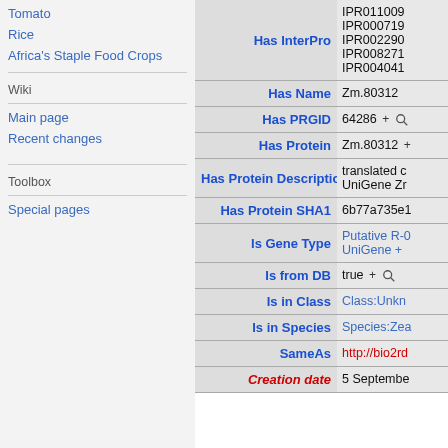Tomato
Rice
Africa's Staple Food Crops
Wiki
Main page
Recent changes
Toolbox
Special pages
| Property | Value |
| --- | --- |
| Has InterPro | IPR011009 IPR000719 IPR002290 IPR008271 IPR004041 |
| Has Name | Zm.80312 |
| Has PRGID | 64286 + 🔍 |
| Has Protein | Zm.80312 + |
| Has Protein Description | translated c UniGene Zr |
| Has Protein SHA1 | 6b77a735e1 |
| Is Gene Type | Putative R-( UniGene + |
| Is from DB | true + 🔍 |
| Is in Class | Class:Unkn |
| Is in Species | Species:Zea |
| SameAs | http://bio2rd |
| Creation date | 5 Septembe |